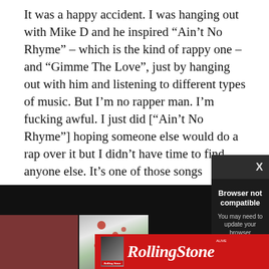It was a happy accident. I was hanging out with Mike D and he inspired “Ain’t No Rhyme” – which is the kind of rappy one – and “Gimme The Love”, just by hanging out with him and listening to different types of music. But I’m no rapper man. I’m fucking awful. I just did [“Ain’t No Rhyme”] hoping someone else would do a rap over it but I didn’t have time to find anyone else. It’s one of those songs
[Figure (screenshot): Screenshot of a webpage with a dark modal popup overlaying the content. The modal shows 'Browser not compatible' with subtitle 'You may need to update your browser' and a report ID link.]
[Figure (photo): Partial album art images visible behind the modal - a dark/black image and a reddish-brown image and a lighter colored image.]
[Figure (logo): Rolling Stone magazine advertisement banner in red with the Rolling Stone logo in white italic script.]